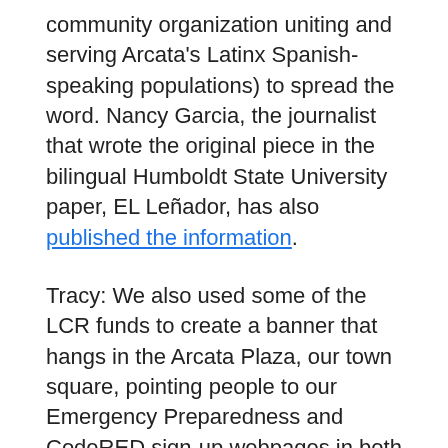community organization uniting and serving Arcata's Latinx Spanish-speaking populations) to spread the word. Nancy Garcia, the journalist that wrote the original piece in the bilingual Humboldt State University paper, EL Leñador, has also published the information.
Tracy: We also used some of the LCR funds to create a banner that hangs in the Arcata Plaza, our town square, pointing people to our Emergency Preparedness and CodeRED sign-up webpages in both Spanish and English.
Gillen: Our Communications Specialist Cati Gallardo here at the City has also been crucial in helping us share efforts b…